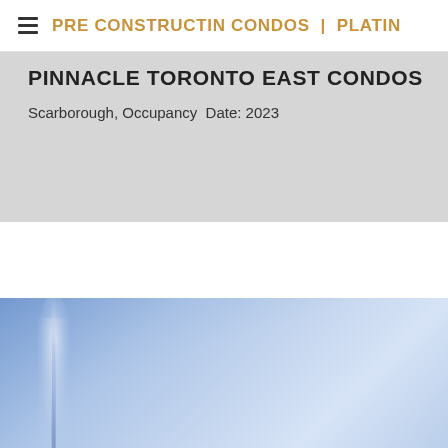PRE CONSTRUCTIN CONDOS | PLATINUM
PINNACLE TORONTO EAST CONDOS
Scarborough, Occupancy Date: 2023
[Figure (photo): Aerial or cityscape photograph with blue sky and a tall tower visible on the left side, likely a Toronto skyline image with hazy atmospheric perspective.]